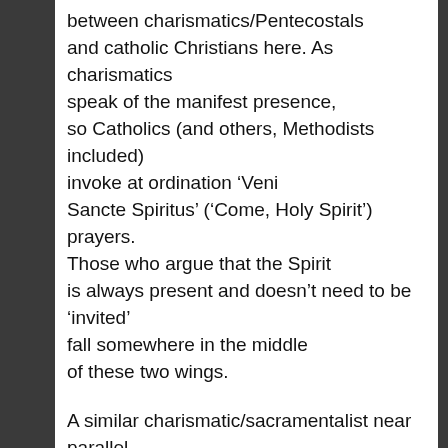between charismatics/Pentecostals and catholic Christians here. As charismatics speak of the manifest presence, so Catholics (and others, Methodists included) invoke at ordination ‘Veni Sancte Spiritus’ (‘Come, Holy Spirit’) prayers. Those who argue that the Spirit is always present and doesn’t need to be ‘invited’ fall somewhere in the middle of these two wings.
A similar charismatic/sacramentalist near parallel can be found in the related issue of the transferable anointing. Both (but particularly catholic Christians) invoke an ‘ex